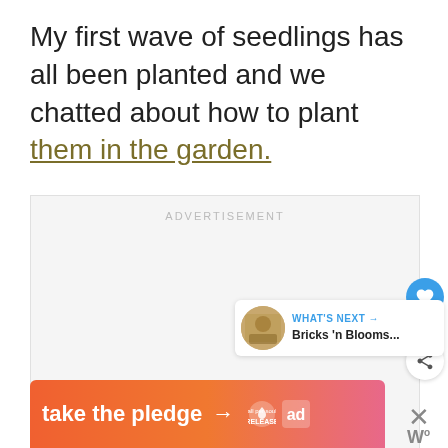My first wave of seedlings has all been planted and we chatted about how to plant them in the garden.
[Figure (other): ADVERTISEMENT placeholder box (gray background)]
[Figure (other): Heart/like button (blue circle with heart icon), like count '10', and share button]
[Figure (other): What's Next card with circular image and text 'Bricks 'n Blooms...']
[Figure (other): Bottom banner ad: 'take the pledge' with arrow, RELEASE logo and ad icon]